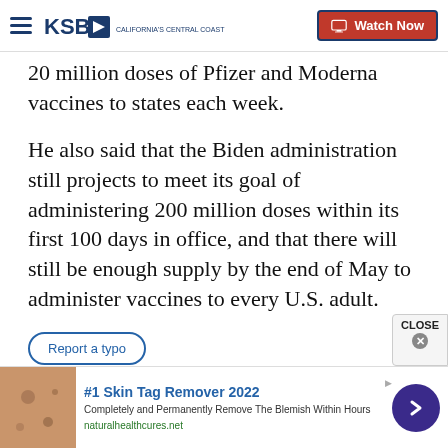KSBY - Watch Now
20 million doses of Pfizer and Moderna vaccines to states each week.
He also said that the Biden administration still projects to meet its goal of administering 200 million doses within its first 100 days in office, and that there will still be enough supply by the end of May to administer vaccines to every U.S. adult.
Report a typo
Copyright 2022 Scripps Media, Inc. All rights reserved. This material may not be published, broadcast, rewritten, or redistributed.
[Figure (screenshot): Advertisement for #1 Skin Tag Remover 2022 with image of skin, text 'Completely and Permanently Remove The Blemish Within Hours', URL naturalhealthcures.net, and a blue arrow button]